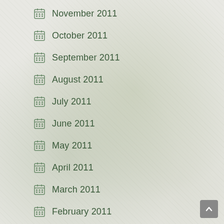November 2011
October 2011
September 2011
August 2011
July 2011
June 2011
May 2011
April 2011
March 2011
February 2011